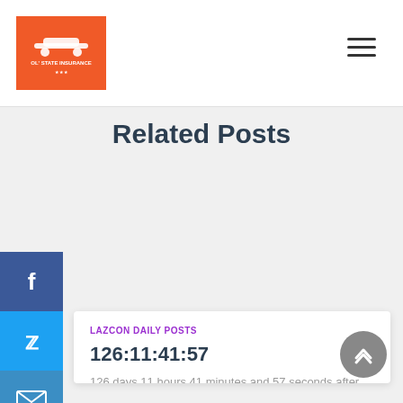[Figure (logo): Orange square logo with car/Tennessee icon and text]
Related Posts
LAZCON DAILY POSTS
126:11:41:57
126 days 11 hours 41 minutes and 57 seconds after getting my feet wet in the atlantic (newport rhode island) i got them wet in the pacific (newport oregon) i think i will take that Read more...